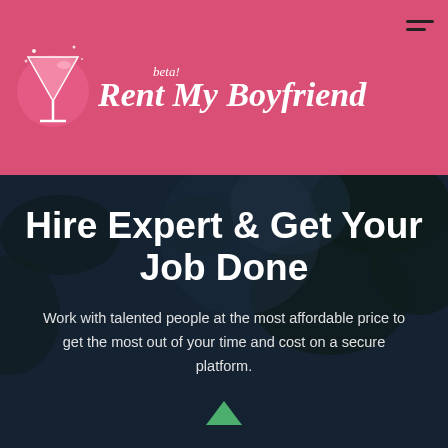Rent My Boyfriend beta!
Hire Expert & Get Your Job Done
Work with talented people at the most affordable price to get the most out of your time and cost on a secure platform.
[Figure (screenshot): Search input box with placeholder text 'What are you looking for']